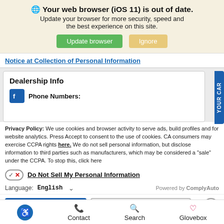Your web browser (iOS 11) is out of date. Update your browser for more security, speed and the best experience on this site.
Notice at Collection of Personal Information
Dealership Info
Phone Numbers:
Privacy Policy: We use cookies and browser activity to serve ads, build profiles and for website analytics. Press Accept to consent to the use of cookies. CA consumers may exercise CCPA rights here. We do not sell personal information, but disclose information to third parties such as manufacturers, which may be considered a "sale" under the CCPA. To stop this, click here
Do Not Sell My Personal Information
Language: English
Powered by ComplyAuto
Accept and Continue →
California Privacy Disclosures
Contact  Search  Glovebox